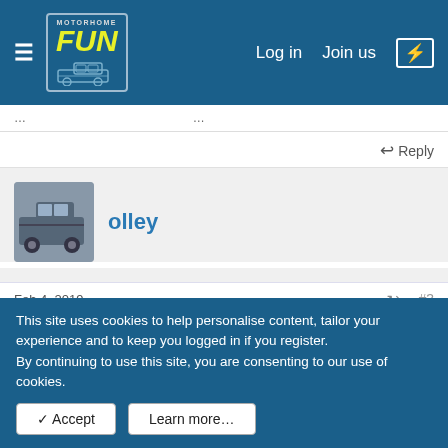motorhome FUN — Log in  Join us
Reply
olley
Feb 4, 2019  #3
Been with 3 since 2008 on data only simm for my Mifi, phoned them last week to see what deals they had, seeing as you such a good customer you can have
This site uses cookies to help personalise content, tailor your experience and to keep you logged in if you register.
By continuing to use this site, you are consenting to our use of cookies.
✓ Accept    Learn more…